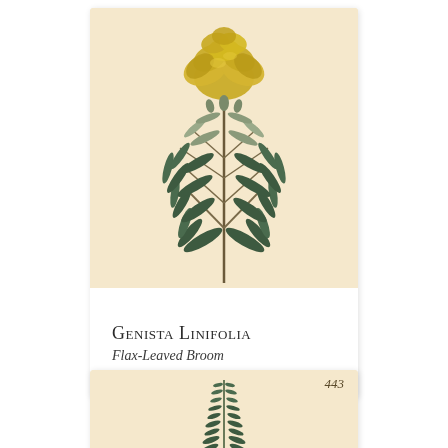[Figure (illustration): Botanical illustration of Genista Linifolia (Flax-Leaved Broom) on a cream/beige background. Shows a plant with whorled narrow leaves along a central stem, topped with yellow pea-like flowers. Plate number 442 appears in upper right in italic script.]
Genista Linifolia
Flax-Leaved Broom
[Figure (illustration): Partial botanical illustration on a cream/beige background showing a single upright stem with dense, small leaves arranged symmetrically along the stem. Plate number 443 appears in upper right in italic script. Only the top portion is visible (card is cropped at page bottom).]